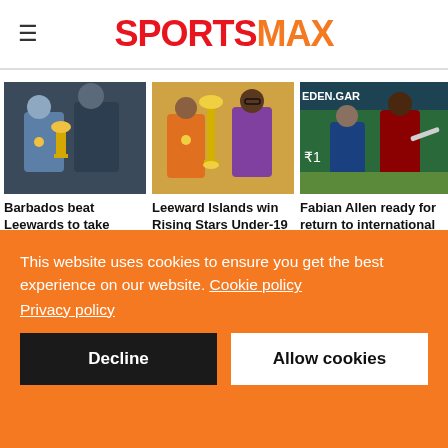SPORTSMAX
[Figure (photo): Two people with trophy at Rising Stars U-15 cricket event, Barbados]
Barbados beat Leewards to take Rising Stars U-15 crown
[Figure (photo): Youth cricketer holding trophy with official at Leeward Islands Rising Stars Under-19 Championship]
Leeward Islands win Rising Stars Under-19 Championship after thrilling
[Figure (photo): Fabian Allen cricket player in West Indies uniform on field at Eden Gardens]
Fabian Allen ready for return to international cricket after "difficult time"
This website uses cookies to ensure you get the best experience on our website. Cookie policy Privacy policy
Decline
Allow cookies